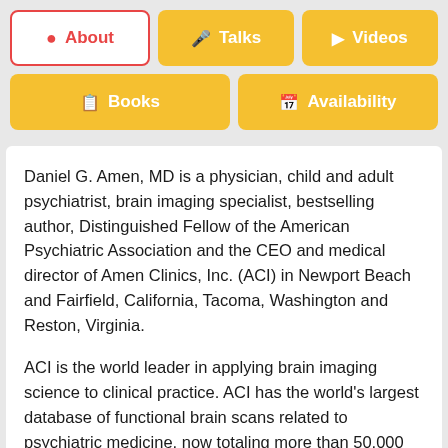[Figure (screenshot): Navigation tab buttons: About (active, white with red border), Talks (yellow), Videos (yellow), Books (yellow, wide), Availability (yellow, wide)]
Daniel G. Amen, MD is a physician, child and adult psychiatrist, brain imaging specialist, bestselling author, Distinguished Fellow of the American Psychiatric Association and the CEO and medical director of Amen Clinics, Inc. (ACI) in Newport Beach and Fairfield, California, Tacoma, Washington and Reston, Virginia.
ACI is the world leader in applying brain imaging science to clinical practice. ACI has the world's largest database of functional brain scans related to psychiatric medicine, now totaling more than 50,000 scans, and the clinics have